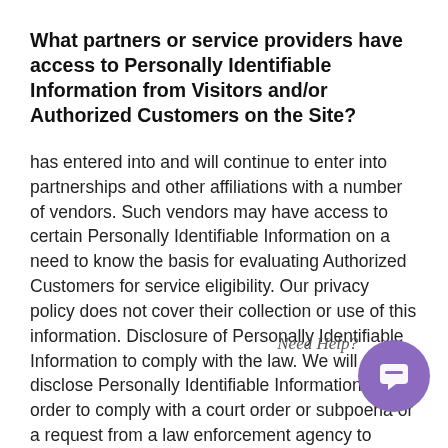What partners or service providers have access to Personally Identifiable Information from Visitors and/or Authorized Customers on the Site?
has entered into and will continue to enter into partnerships and other affiliations with a number of vendors. Such vendors may have access to certain Personally Identifiable Information on a need to know the basis for evaluating Authorized Customers for service eligibility. Our privacy policy does not cover their collection or use of this information. Disclosure of Personally Identifiable Information to comply with the law. We will disclose Personally Identifiable Information in order to comply with a court order or subpoena or a request from a law enforcement agency to release information. 'is Personally Identifiable Information when reasonably necessary to protect the safety of our Visitors and